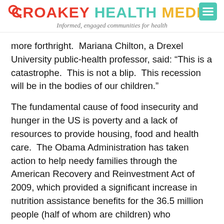CROAKEY HEALTH MEDIA — Informed, engaged communities for health
more forthright.  Mariana Chilton, a Drexel University public-health professor, said: “This is a catastrophe.  This is not a blip.  This recession will be in the bodies of our children.”
The fundamental cause of food insecurity and hunger in the US is poverty and a lack of resources to provide housing, food and health care.  The Obama Administration has taken action to help needy families through the American Recovery and Reinvestment Act of 2009, which provided a significant increase in nutrition assistance benefits for the 36.5 million people (half of whom are children) who participate in USDA’s Supplemental Nutrition Assistance Program (SNAP), formerly the